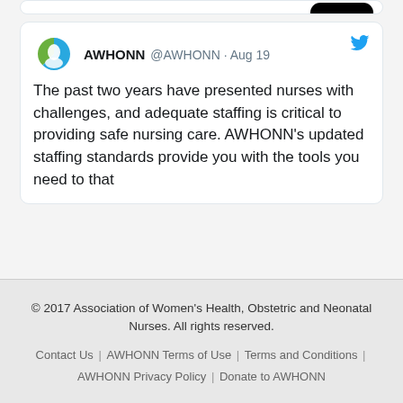[Figure (screenshot): Partial tweet card from AWHONN @AWHONN · Aug 19 with AWHONN logo avatar and Twitter bird icon. Tweet text: 'The past two years have presented nurses with challenges, and adequate staffing is critical to providing safe nursing care. AWHONN's updated staffing standards provide you with the tools you need to that [text cut off]']
© 2017 Association of Women's Health, Obstetric and Neonatal Nurses. All rights reserved. Contact Us | AWHONN Terms of Use | Terms and Conditions | AWHONN Privacy Policy | Donate to AWHONN